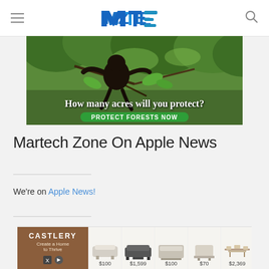MTE logo, hamburger menu, search icon
[Figure (photo): Advertisement banner showing a monkey in a forest with text 'How many acres will you protect?' and a green button 'PROTECT FORESTS NOW']
Martech Zone On Apple News
We're on Apple News!
[Figure (photo): Castlery furniture advertisement showing sofa and furniture items with prices: $100, $1,599, $100, $70, $2,369]